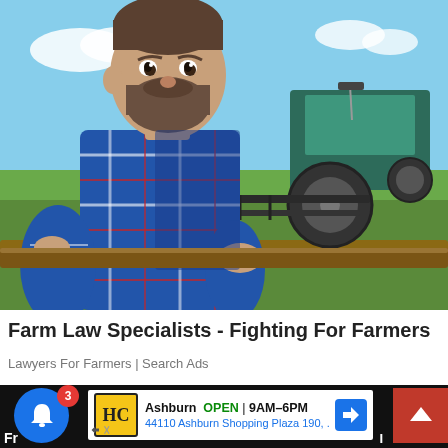[Figure (photo): A bearded man in a blue and red plaid shirt leaning on a wooden fence rail, with a large green tractor and farm equipment visible in the background. Blue sky with clouds overhead and green grass below.]
Farm Law Specialists - Fighting For Farmers
Lawyers For Farmers | Search Ads
[Figure (screenshot): Bottom section showing a notification bell button with a red badge showing '3', a HC (Heating & Cooling) business ad banner showing 'Ashburn OPEN 9AM–6PM' and '44110 Ashburn Shopping Plaza 190,' with a blue navigation arrow, plus a red scroll-up button on the right and dark background with partial video UI text.]